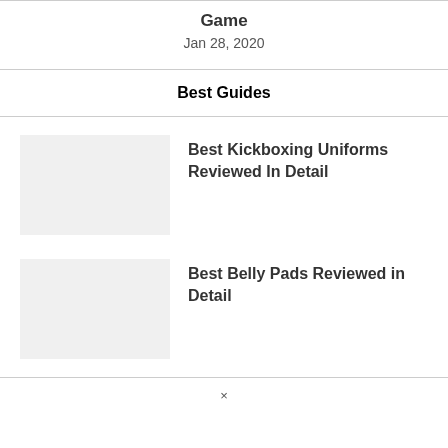Game
Jan 28, 2020
Best Guides
Best Kickboxing Uniforms Reviewed In Detail
Best Belly Pads Reviewed in Detail